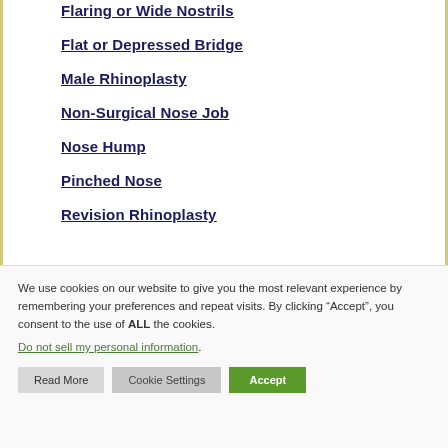Flaring or Wide Nostrils
Flat or Depressed Bridge
Male Rhinoplasty
Non-Surgical Nose Job
Nose Hump
Pinched Nose
Revision Rhinoplasty
We use cookies on our website to give you the most relevant experience by remembering your preferences and repeat visits. By clicking “Accept”, you consent to the use of ALL the cookies.
Do not sell my personal information.
Read More | Cookie Settings | Accept